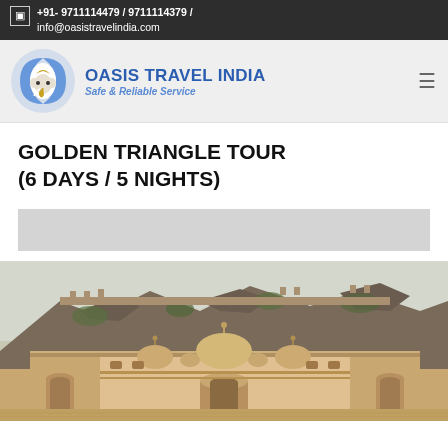+91- 9711114479 / 9711114379 / info@oasistravelindia.com
[Figure (logo): Oasis Travel India logo with Ganesha elephant head in blue circular design, company name OASIS TRAVEL INDIA in blue bold text, tagline Safe & Reliable Service]
GOLDEN TRIANGLE TOUR (6 DAYS / 5 NIGHTS)
[Figure (photo): Photograph of Amber Fort in Jaipur, Rajasthan, India — showing ornate palace architecture in warm sandstone with domed pavilions, intricate carved facades, crenellated walls, and rocky hillside with fortification walls in the background under a pale blue sky]